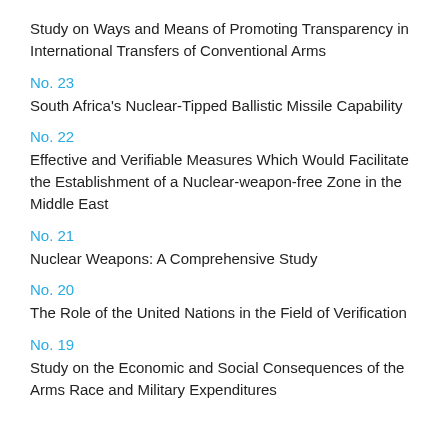Study on Ways and Means of Promoting Transparency in International Transfers of Conventional Arms
No. 23
South Africa's Nuclear-Tipped Ballistic Missile Capability
No. 22
Effective and Verifiable Measures Which Would Facilitate the Establishment of a Nuclear-weapon-free Zone in the Middle East
No. 21
Nuclear Weapons: A Comprehensive Study
No. 20
The Role of the United Nations in the Field of Verification
No. 19
Study on the Economic and Social Consequences of the Arms Race and Military Expenditures